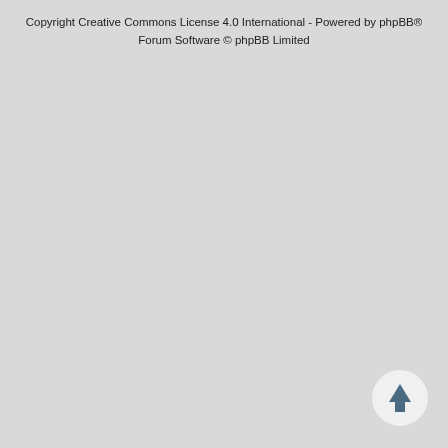Copyright Creative Commons License 4.0 International - Powered by phpBB® Forum Software © phpBB Limited
[Figure (other): Circular back-to-top button with an upward-pointing arrow icon, positioned in the bottom-right corner]